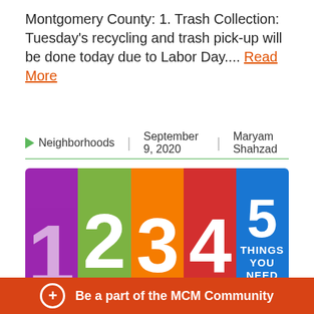Montgomery County: 1. Trash Collection: Tuesday's recycling and trash pick-up will be done today due to Labor Day.... Read More
Neighborhoods | September 9, 2020 | Maryam Shahzad
[Figure (illustration): Colorful graphic with five vertical panels in purple, green, orange, red, and blue showing the numbers 1, 2, 3, 4, 5 with text 'THINGS YOU NEED' on the rightmost blue panel]
Be a part of the MCM Community